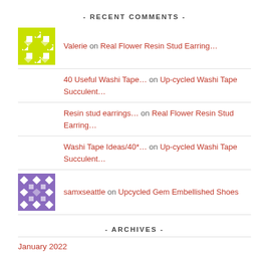- RECENT COMMENTS -
Valerie on Real Flower Resin Stud Earring…
40 Useful Washi Tape… on Up-cycled Washi Tape Succulent….
Resin stud earrings… on Real Flower Resin Stud Earring…
Washi Tape Ideas/40*… on Up-cycled Washi Tape Succulent…
samxseattle on Upcycled Gem Embellished Shoes
- ARCHIVES -
January 2022